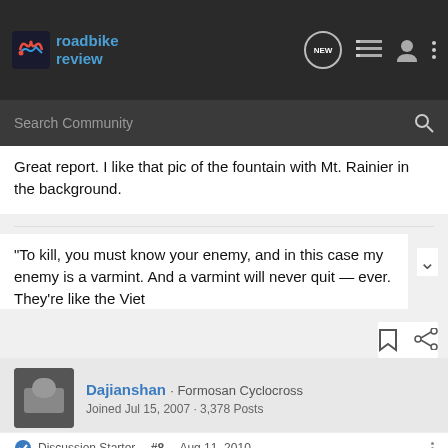roadbike review
Search Community
Great report. I like that pic of the fountain with Mt. Rainier in the background.
“To kill, you must know your enemy, and in this case my enemy is a varmint. And a varmint will never quit — ever. They’re like the Viet
Dajianshan · Formosan Cyclocross
Joined Jul 15, 2007 · 3,378 Posts
Discussion Starter · #8 · Aug 11, 2010
The trol
[Figure (screenshot): Cabela's Hunting Clearance Bargain Cave advertisement banner]